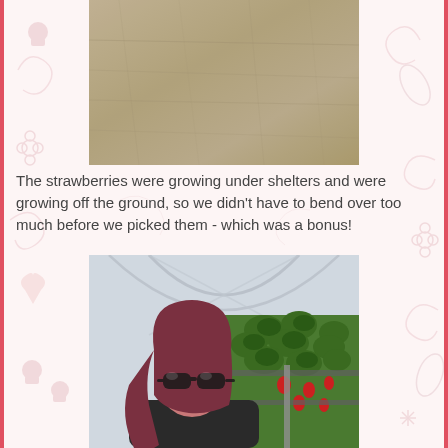[Figure (photo): Photo of sandy/concrete ground surface, brownish-grey texture, viewed from above]
The strawberries were growing under shelters and were growing off the ground, so we didn't have to bend over too much before we picked them - which was a bonus!
[Figure (photo): Selfie photo of a woman with red/purple hair and sunglasses in a greenhouse/polytunnel with strawberry plants growing on elevated trays, red strawberries visible]